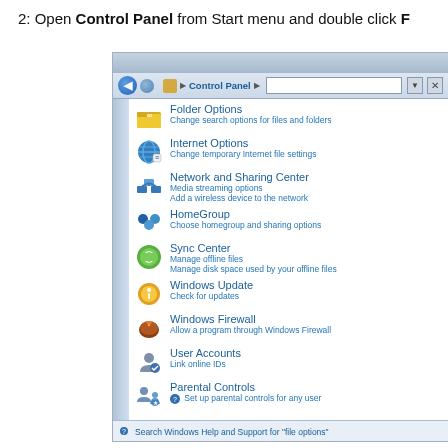2: Open Control Panel from Start menu and double click F…
[Figure (screenshot): Windows 7 Control Panel screenshot showing a list of control panel items including Folder Options, Internet Options, Network and Sharing Center, HomeGroup, Sync Center, Windows Update, Windows Firewall, User Accounts, and Parental Controls. The address bar shows 'Control Panel'. At the bottom is a search bar for Windows Help and Support.]